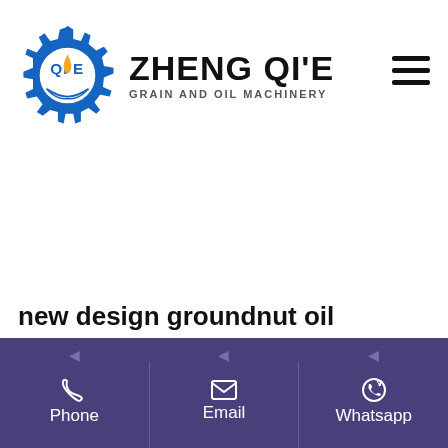[Figure (logo): Zheng Qi'e Grain and Oil Machinery logo with gear icon and brand name]
new design groundnut oil extraction machine for restaurant market
[Figure (photo): Green groundnut oil extraction machine]
capacity machine and (1)
Page text line partially visible
Phone   Email   Whatsapp